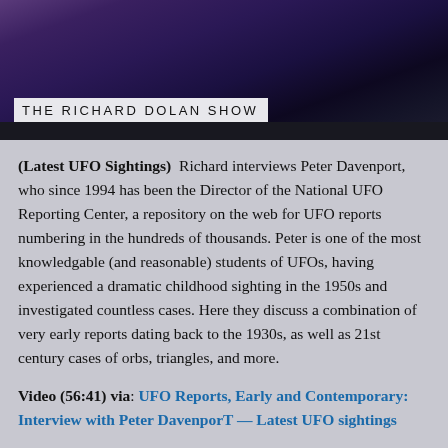[Figure (screenshot): Dark purple cloudy sky background with white text bar reading 'THE RICHARD DOLAN SHOW' at the bottom left]
(Latest UFO Sightings)  Richard interviews Peter Davenport, who since 1994 has been the Director of the National UFO Reporting Center, a repository on the web for UFO reports numbering in the hundreds of thousands. Peter is one of the most knowledgable (and reasonable) students of UFOs, having experienced a dramatic childhood sighting in the 1950s and investigated countless cases. Here they discuss a combination of very early reports dating back to the 1930s, as well as 21st century cases of orbs, triangles, and more.
Video (56:41) via: UFO Reports, Early and Contemporary: Interview with Peter DavenporT — Latest UFO sightings